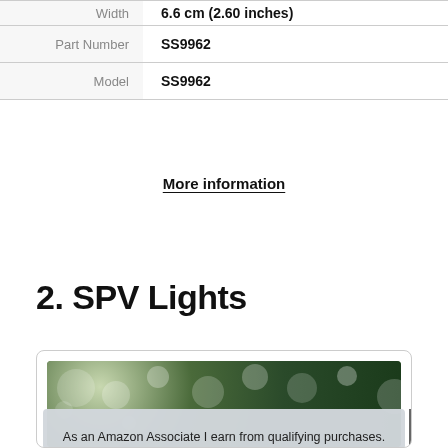| Attribute | Value |
| --- | --- |
| Width | 6.6 cm (2.60 inches) |
| Part Number | SS9962 |
| Model | SS9962 |
More information
2. SPV Lights
[Figure (photo): Product card showing solar string lights with bokeh background and cookie consent overlay popup]
As an Amazon Associate I earn from qualifying purchases. This website uses the only necessary cookies to ensure you get the best experience on our website. More information